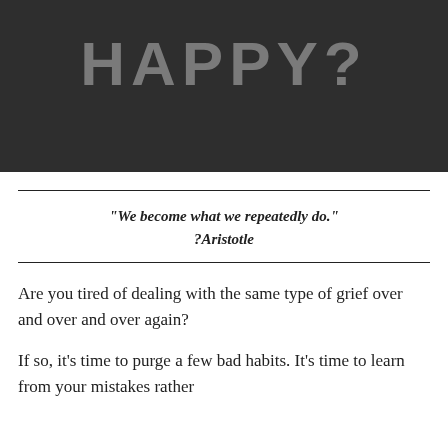[Figure (photo): Dark background image with the word HAPPY? in large grey bold text]
“We become what we repeatedly do.” ?Aristotle
Are you tired of dealing with the same type of grief over and over and over again?
If so, it’s time to purge a few bad habits.  It’s time to learn from your mistakes rather